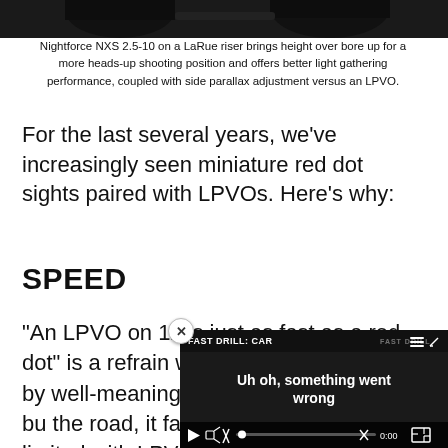[Figure (photo): Top portion of a firearm scope/optic image, dark background, partially cut off]
Nightforce NXS 2.5-10 on a LaRue riser brings height over bore up for a more heads-up shooting position and offers better light gathering performance, coupled with side parallax adjustment versus an LPVO.
For the last several years, we’ve increasingly seen miniature red dot sights paired with LPVOs. Here’s why:
SPEED
“An LPVO on 1x is just as fast as a red dot” is a refrain we often hear repeated by well-meaning internet commentators, bu the road, it falls short. Eye are more limited with LPV learning curve and a ton o
[Figure (screenshot): Video player overlay showing error message 'Uh oh, something went wrong' with video controls including play button, progress bar, mute, timestamp 0:00, and fullscreen button. Video title area shows 'FAST DRILL: CAR'. Close button (x) visible at top right of overlay.]